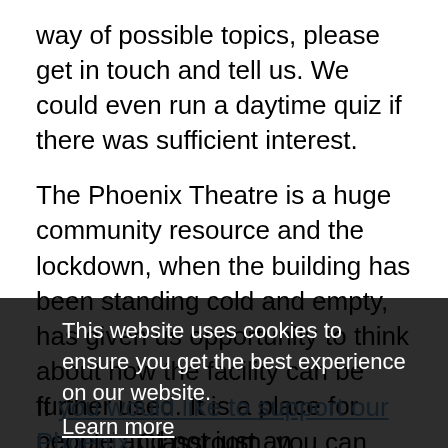way of possible topics, please get in touch and tell us. We could even run a daytime quiz if there was sufficient interest.
The Phoenix Theatre is a huge community resource and the lockdown, when the building has been standing cold and empty, has given us opportunity to think about how the facility can be further used. It is a place for people and not just an entertainment venue.
Look out for details of forthcoming courses which will be advertised on this page.
This website uses cookies to ensure you get the best experience on our website.
Learn more
Got it!
If you would like to support our Phoenix Classroom, you can make a donation by clicking